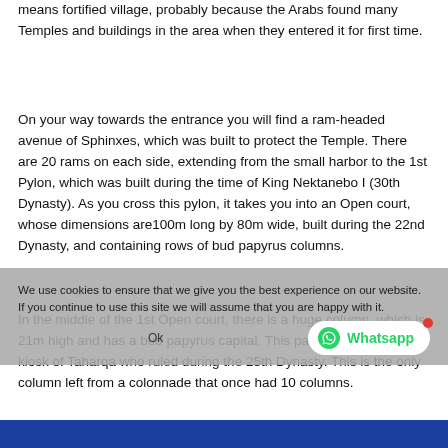means fortified village, probably because the Arabs found many Temples and buildings in the area when they entered it for first time.
On your way towards the entrance you will find a ram-headed avenue of Sphinxes, which was built to protect the Temple. There are 20 rams on each side, extending from the small harbor to the 1st Pylon, which was built during the time of King Nektanebo I (30th Dynasty). As you cross this pylon, it takes you into an Open court, whose dimensions are100m long by 80m wide, built during the 22nd Dynasty, and containing rows of bud papyrus columns.
In the middle of the 1st Open court, there is a huge column, which is 21m high and has a bud papyrus capital. This part is known as the kiosk of Taharqa who ruled during the 25th Dynasty. This is the only column left from a colonnade that once had 10 columns.
We use cookies to ensure that we give you the best experience on our website. If you continue to use this site we will assume that you are happy with it.
[Figure (other): Blue bar at the bottom of the page]
[Figure (logo): WhatsApp button with green text and icon, white rounded rectangle with red notification dot]